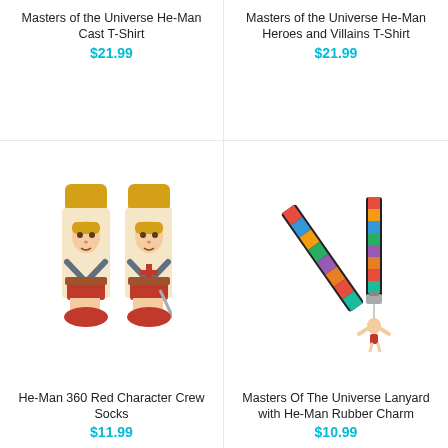Masters of the Universe He-Man Cast T-Shirt
$21.99
Masters of the Universe He-Man Heroes and Villains T-Shirt
$21.99
[Figure (illustration): He-Man 360 Red Character Crew Socks showing two socks with He-Man character design in yellow and red]
He-Man 360 Red Character Crew Socks
$11.99
[Figure (illustration): Masters of the Universe Lanyard with He-Man Rubber Charm showing a colorful lanyard with He-Man themed characters and a rubber charm pendant]
Masters Of The Universe Lanyard with He-Man Rubber Charm
$10.99